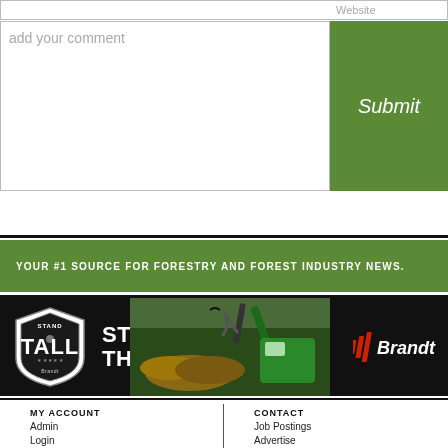Website
add your comment
Submit
YOUR #1 SOURCE FOR FORESTRY AND FOREST INDUSTRY NEWS.
[Figure (illustration): Brandt ad banner: Stand Tall shield logo on left, 'STACK THE DECK.' text in white on black, forestry machinery photo in center, Brandt logo on right]
MY ACCOUNT
Admin
Login
CONTACT
Job Postings
Advertise